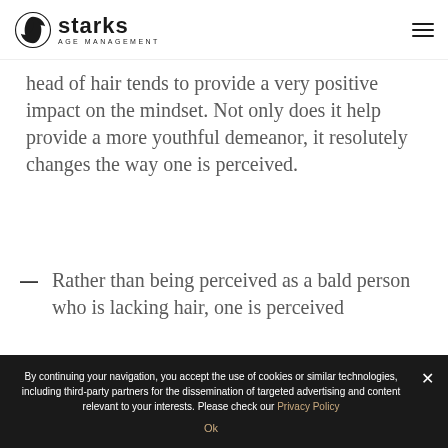Starks Age Management
head of hair tends to provide a very positive impact on the mindset. Not only does it help provide a more youthful demeanor, it resolutely changes the way one is perceived.
Rather than being perceived as a bald person who is lacking hair, one is perceived
By continuing your navigation, you accept the use of cookies or similar technologies, including third-party partners for the dissemination of targeted advertising and content relevant to your interests. Please check our Privacy Policy
Ok